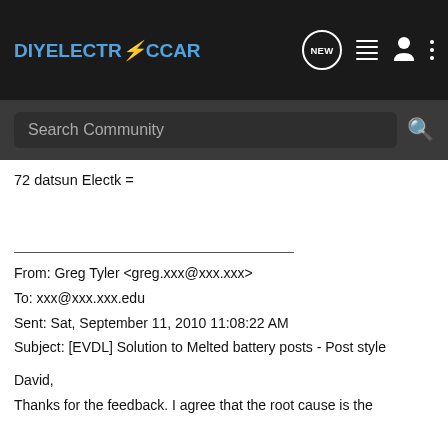DIYELECTRiCCAR [navigation bar with NEW, list, user, menu icons]
Search Community
72 datsun Electk =
From: Greg Tyler <greg.xxx@xxx.xxx>
To: xxx@xxx.xxx.edu
Sent: Sat, September 11, 2010 11:08:22 AM
Subject: [EVDL] Solution to Melted battery posts - Post style
David,
Thanks for the feedback. I agree that the root cause is the